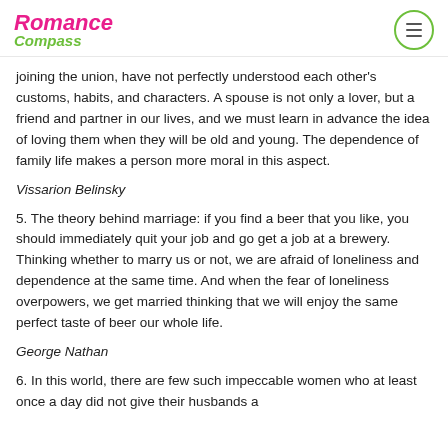Romance Compass
joining the union, have not perfectly understood each other's customs, habits, and characters. A spouse is not only a lover, but a friend and partner in our lives, and we must learn in advance the idea of loving them when they will be old and young. The dependence of family life makes a person more moral in this aspect.
Vissarion Belinsky
5. The theory behind marriage: if you find a beer that you like, you should immediately quit your job and go get a job at a brewery. Thinking whether to marry us or not, we are afraid of loneliness and dependence at the same time. And when the fear of loneliness overpowers, we get married thinking that we will enjoy the same perfect taste of beer our whole life.
George Nathan
6. In this world, there are few such impeccable women who at least once a day did not give their husbands a